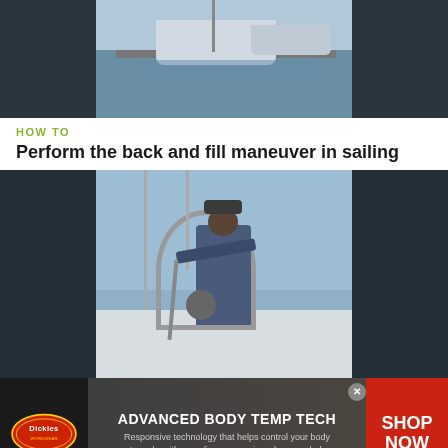[Figure (photo): Top portion of a sailing/marina video thumbnail showing boats at a dock with water in background, dark blurred side panels]
HOW TO
Perform the back and fill maneuver in sailing
[Figure (photo): Video thumbnail showing a person standing on a sailboat deck at a marina, holding rigging equipment, with masts and blue sky in background, dark blurred side panels]
[Figure (infographic): Dickies advertisement banner: ADVANCED BODY TEMP TECH - Responsive technology that helps control your body temp by either cooling or warming when needed. SHOP NOW button on right.]